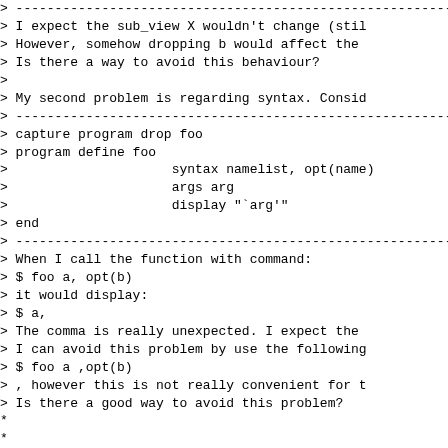> ----------------------------------------------------------
> I expect the sub_view X wouldn't change (stil
> However, somehow dropping b would affect the
> Is there a way to avoid this behaviour?
>
> My second problem is regarding syntax. Consid
> ----------------------------------------------------------
> capture program drop foo
> program define foo
>                     syntax namelist, opt(name)
>                     args arg
>                     display "`arg'"
> end
> ----------------------------------------------------------
> When I call the function with command:
> $ foo a, opt(b)
> it would display:
> $ a,
> The comma is really unexpected. I expect the
> I can avoid this problem by use the following
> $ foo a ,opt(b)
> , however this is not really convenient for t
> Is there a good way to avoid this problem?
*
*    I expect the sub_view X wouldn't change (still...